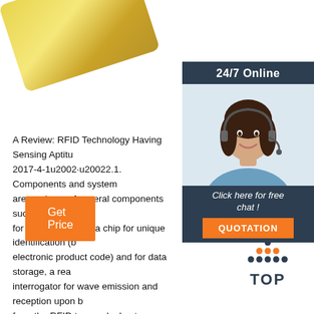[Figure (photo): Gold RFID card partially visible at top left]
[Figure (photo): 24/7 Online customer service chat widget with woman wearing headset, orange QUOTATION button]
A Review: RFID Technology Having Sensing Aptitude 2017-4-1u2002·u20022.1. Components and system are made up of several components such as a RFID for communication, a chip for unique identification (b electronic product code) and for data storage, a rea interrogator for wave emission and reception upon b from the RFID tag, and a host computer for data sa
[Figure (other): Orange Get Price button]
[Figure (logo): TOP arrow logo in dark blue at bottom right]